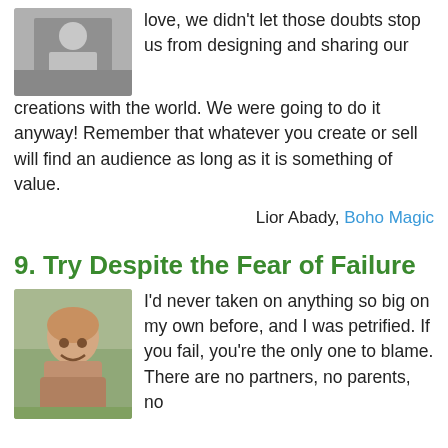[Figure (photo): Black and white photo of two people]
love, we didn't let those doubts stop us from designing and sharing our creations with the world. We were going to do it anyway! Remember that whatever you create or sell will find an audience as long as it is something of value.
Lior Abady, Boho Magic
9. Try Despite the Fear of Failure
[Figure (photo): Photo of a bald man with a beard smiling outdoors]
I'd never taken on anything so big on my own before, and I was petrified. If you fail, you're the only one to blame. There are no partners, no parents, no